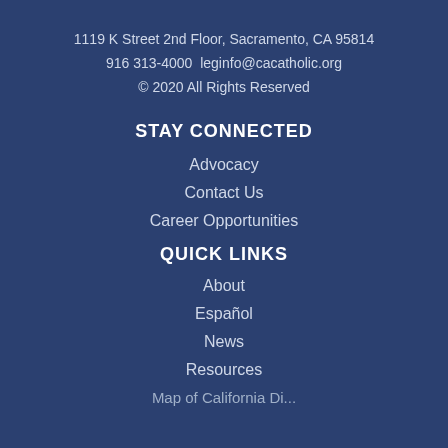1119 K Street 2nd Floor, Sacramento, CA 95814
916 313-4000  leginfo@cacatholic.org
© 2020 All Rights Reserved
STAY CONNECTED
Advocacy
Contact Us
Career Opportunities
QUICK LINKS
About
Español
News
Resources
Map of California Di...